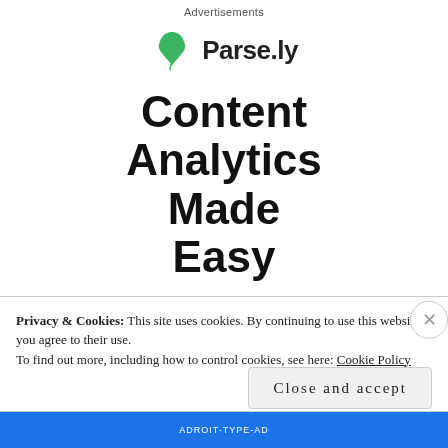Advertisements
[Figure (logo): Parse.ly logo with green leaf icon and text Parse.ly]
Content Analytics Made Easy
Get A Demo →
[Figure (screenshot): Partial dashboard preview with Today label, green and gray buttons]
Privacy & Cookies: This site uses cookies. By continuing to use this website, you agree to their use. To find out more, including how to control cookies, see here: Cookie Policy
Close and accept